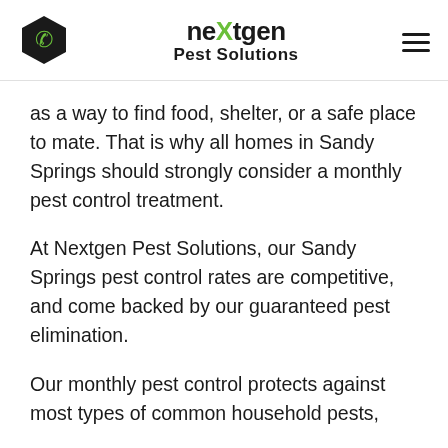[Figure (logo): Nextgen Pest Solutions logo with hexagon phone icon on the left, company name in center (neXtgen Pest Solutions), and hamburger menu icon on the right]
as a way to find food, shelter, or a safe place to mate. That is why all homes in Sandy Springs should strongly consider a monthly pest control treatment.
At Nextgen Pest Solutions, our Sandy Springs pest control rates are competitive, and come backed by our guaranteed pest elimination.
Our monthly pest control protects against most types of common household pests,